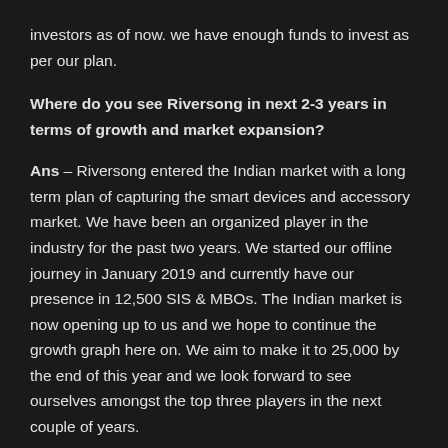investors as of now. we have enough funds to invest as per our plan.
Where do you see Riversong in next 2-3 years in terms of growth and market expansion?
Ans – Riversong entered the Indian market with a long term plan of capturing the smart devices and accessory market. We have been an organized player in the industry for the past two years. We started our offline journey in January 2019 and currently have our presence in 12,500 SIS & MBOs. The Indian market is now opening up to us and we hope to continue the growth graph here on. We aim to make it to 25,000 by the end of this year and we look forward to see ourselves amongst the top three players in the next couple of years.